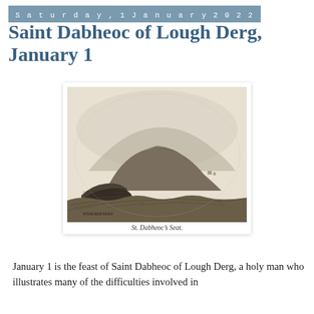Saturday, 1 January 2022
Saint Dabheoc of Lough Derg, January 1
[Figure (illustration): A pencil sketch illustration of St. Dabheoc's Seat, showing a rounded hill or mountain in the background with rocky outcrops and rough terrain in the foreground. Signed 'WSMAKEMAN' in the lower left. Caption reads 'St. Dabheoc's Seat.']
St. Dabheoc's Seat.
January 1 is the feast of Saint Dabheoc of Lough Derg, a holy man who illustrates many of the difficulties involved in